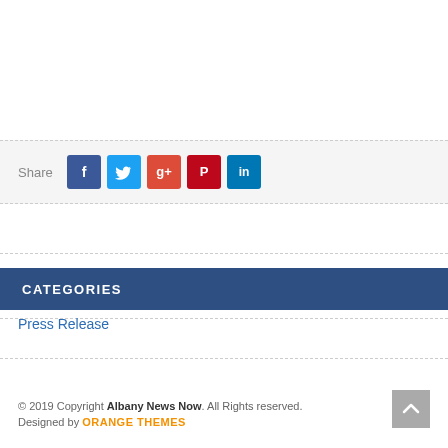Share
[Figure (infographic): Social share buttons: Facebook (blue), Twitter (light blue), Google+ (red-orange), Pinterest (red), LinkedIn (dark blue)]
CATEGORIES
Press Release
© 2019 Copyright Albany News Now. All Rights reserved. Designed by ORANGE THEMES